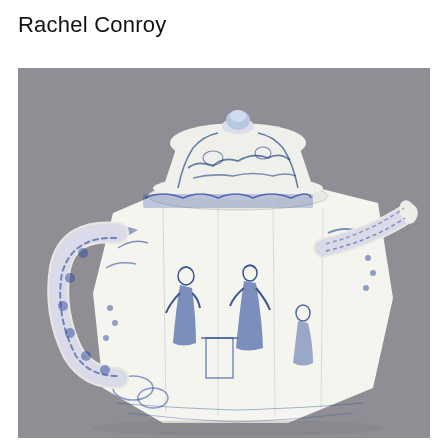Rachel Conroy
[Figure (photo): A blue and white Chinese porcelain teapot with an octagonal body, decorated with figures in garden scenes painted in cobalt blue. The teapot has a domed lid with a round knob finial, a curved handle decorated with floral blue patterns, and a long tapering spout. The background is grey.]